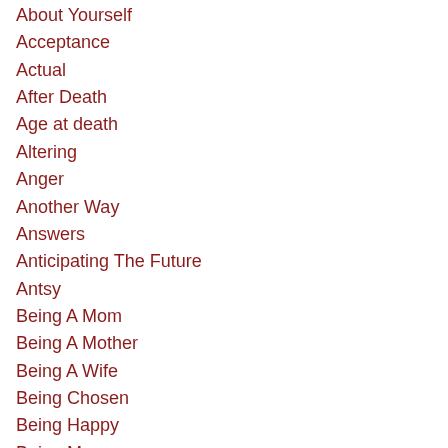About Yourself
Acceptance
Actual
After Death
Age at death
Altering
Anger
Another Way
Answers
Anticipating The Future
Antsy
Being A Mom
Being A Mother
Being A Wife
Being Chosen
Being Happy
Being Me
Birth Mother
Black Hole
Blessing